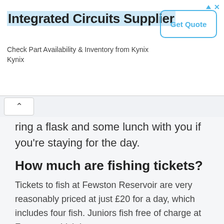[Figure (screenshot): Advertisement banner for Integrated Circuits Supplier - Kynix. Shows title 'Integrated Circuits Supplier', subtitle 'Check Part Availability & Inventory from Kynix Kynix', and a 'Get Quote' button.]
…bring a flask and some lunch with you if you're staying for the day.
How much are fishing tickets?
Tickets to fish at Fewston Reservoir are very reasonably priced at just £20 for a day, which includes four fish. Juniors fish free of charge at Fewston, which is great.
You can buy tickets to fish at Fewston from the ticket machine in the fishing office at the Swinsty Moor car park which lies on the corner of the dam between Fewston and Swinsty. Andrew, the warden, will be worth speaking to for helpful tips before you start.